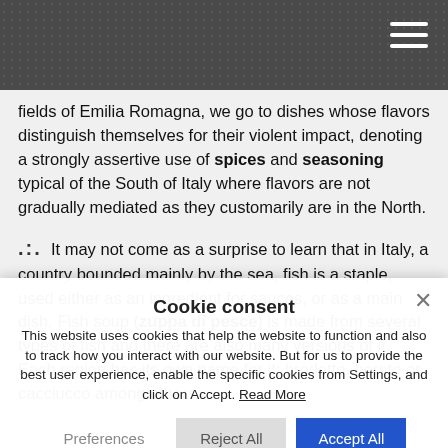fields of Emilia Romagna, we go to dishes whose flavors distinguish themselves for their violent impact, denoting a strongly assertive use of spices and seasoning typical of the South of Italy where flavors are not gradually mediated as they customarily are in the North.
... It may not come as a surprise to learn that in Italy, a country bounded mainly by the sea, fish is a staple, used either as an ingredient for sauces, or as a main dish. Fish soup (zuppa di pesce) is made from several types of fish and there are also many versions of it. Each region has its own name for it: brodetto, boreto or cacciucco among others.
Cookie consent
This website uses cookies that help the website to function and also to track how you interact with our website. But for us to provide the best user experience, enable the specific cookies from Settings, and click on Accept. Read More